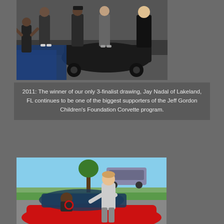[Figure (photo): Group of people standing around a black car at what appears to be an auto show event. Multiple people visible, some applauding or gesturing.]
2011:  The winner of our only 3-finalist drawing, Jay Nadal of Lakeland, FL continues to be one of the biggest supporters of the Jeff Gordon Children's Foundation Corvette program.
[Figure (photo): A man leaning over a red Corvette sports car talking to the driver inside. Outdoor setting with trees and parked cars visible in background.]